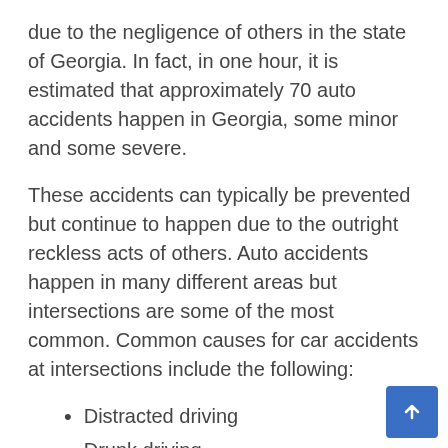due to the negligence of others in the state of Georgia. In fact, in one hour, it is estimated that approximately 70 auto accidents happen in Georgia, some minor and some severe.
These accidents can typically be prevented but continue to happen due to the outright reckless acts of others. Auto accidents happen in many different areas but intersections are some of the most common. Common causes for car accidents at intersections include the following:
Distracted driving
Drunk driving
Speeding
Drowsy driving